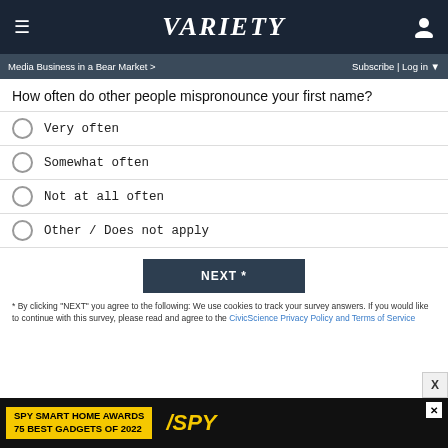Variety
Media Business in a Bear Market > | Subscribe | Log in
How often do other people mispronounce your first name?
Very often
Somewhat often
Not at all often
Other / Does not apply
NEXT *
* By clicking "NEXT" you agree to the following: We use cookies to track your survey answers. If you would like to continue with this survey, please read and agree to the CivicScience Privacy Policy and Terms of Service
[Figure (screenshot): SPY Smart Home Awards 75 Best Gadgets of 2022 advertisement banner]